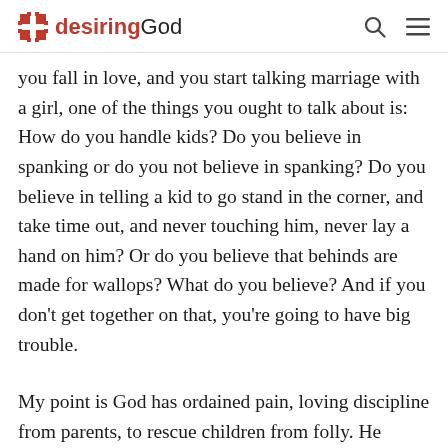desiringGod
you fall in love, and you start talking marriage with a girl, one of the things you ought to talk about is: How do you handle kids? Do you believe in spanking or do you not believe in spanking? Do you believe in telling a kid to go stand in the corner, and take time out, and never touching him, never lay a hand on him? Or do you believe that behinds are made for wallops? What do you believe? And if you don't get together on that, you're going to have big trouble.
My point is God has ordained pain, loving discipline from parents, to rescue children from folly. He compares the discipline of a father with